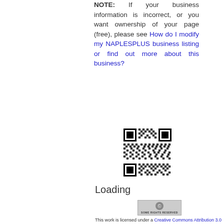NOTE: If your business information is incorrect, or you want ownership of your page (free), please see How do I modify my NAPLESPLUS business listing or find out more about this business?
[Figure (other): QR code for NAPLESPLUS business listing]
Loading
[Figure (logo): Creative Commons Some Rights Reserved badge]
This work is licensed under a Creative Commons Attribution 3.0 United States License. © 2007-2015, NeighborHelp Referrals' Affordable